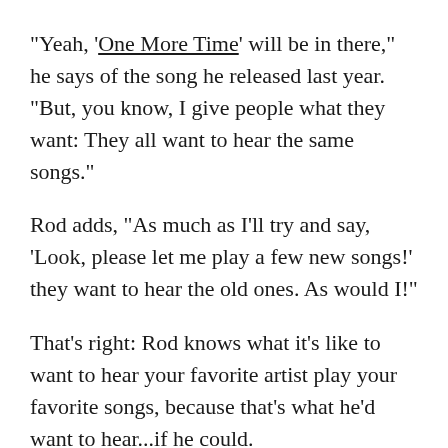"Yeah, 'One More Time' will be in there," he says of the song he released last year. "But, you know, I give people what they want: They all want to hear the same songs."
Rod adds, "As much as I'll try and say, 'Look, please let me play a few new songs!' they want to hear the old ones. As would I!"
That's right: Rod knows what it's like to want to hear your favorite artist play your favorite songs, because that's what he'd want to hear...if he could.
"If my idols were alive today, I would want to